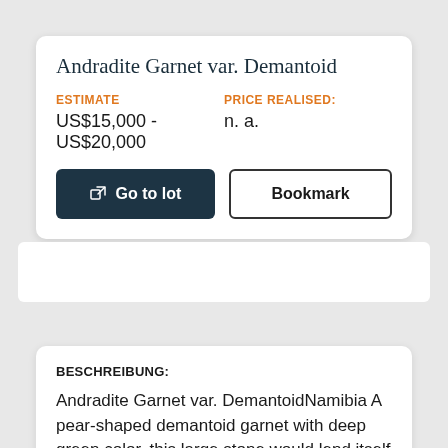Andradite Garnet var. Demantoid
ESTIMATE
US$15,000 - US$20,000
PRICE REALISED:
n. a.
Go to lot
Bookmark
BESCHREIBUNG:
Andradite Garnet var. DemantoidNamibia A pear-shaped demantoid garnet with deep green color, this large stone would lend itself to being mounted as a